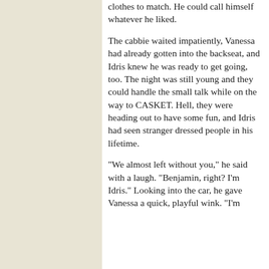clothes to match. He could call himself whatever he liked.

The cabbie waited impatiently, Vanessa had already gotten into the backseat, and Idris knew he was ready to get going, too. The night was still young and they could handle the small talk while on the way to CASKET. Hell, they were heading out to have some fun, and Idris had seen stranger dressed people in his lifetime.

"We almost left without you," he said with a laugh. "Benjamin, right? I'm Idris." Looking into the car, he gave Vanessa a quick, playful wink. "I'm